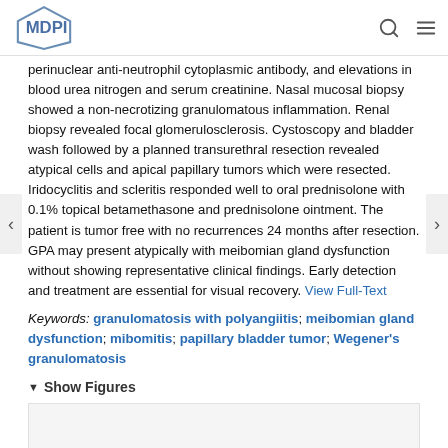MDPI
perinuclear anti-neutrophil cytoplasmic antibody, and elevations in blood urea nitrogen and serum creatinine. Nasal mucosal biopsy showed a non-necrotizing granulomatous inflammation. Renal biopsy revealed focal glomerulosclerosis. Cystoscopy and bladder wash followed by a planned transurethral resection revealed atypical cells and apical papillary tumors which were resected. Iridocyclitis and scleritis responded well to oral prednisolone with 0.1% topical betamethasone and prednisolone ointment. The patient is tumor free with no recurrences 24 months after resection. GPA may present atypically with meibomian gland dysfunction without showing representative clinical findings. Early detection and treatment are essential for visual recovery. View Full-Text
Keywords: granulomatosis with polyangiitis; meibomian gland dysfunction; mibomitis; papillary bladder tumor; Wegener's granulomatosis
Show Figures
[Figure (other): Empty figure placeholder box]